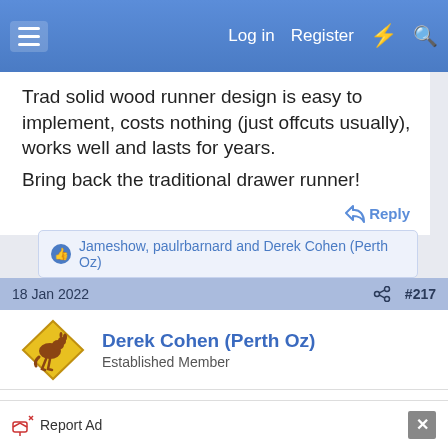Log in  Register
Trad solid wood runner design is easy to implement, costs nothing (just offcuts usually), works well and lasts for years.
Bring back the traditional drawer runner!
Reply
Jameshow, paulrbarnard and Derek Cohen (Perth Oz)
18 Jan 2022  #217
Derek Cohen (Perth Oz)
Established Member
Kaizen123 said:
Report Ad